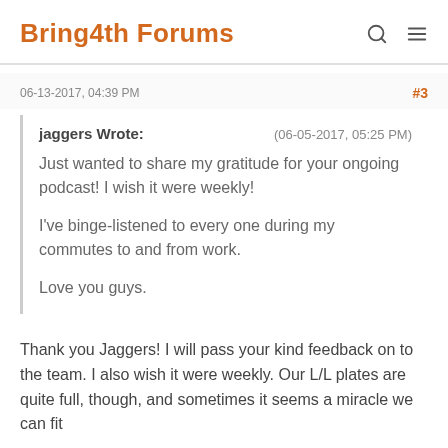Bring4th Forums
06-13-2017, 04:39 PM
#3
jaggers Wrote: (06-05-2017, 05:25 PM)
Just wanted to share my gratitude for your ongoing podcast!  I wish it were weekly!

I've binge-listened to every one during my commutes to and from work.

Love you guys.
Thank you Jaggers! I will pass your kind feedback on to the team. I also wish it were weekly. Our L/L plates are quite full, though, and sometimes it seems a miracle we can fit